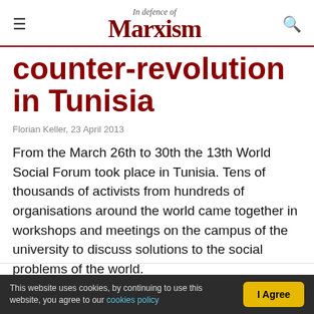In Defence of Marxism
counter-revolution in Tunisia
Florian Keller, 23 April 2013
From the March 26th to 30th the 13th World Social Forum took place in Tunisia. Tens of thousands of activists from hundreds of organisations around the world came together in workshops and meetings on the campus of the university to discuss solutions to the social problems of the world.
This website uses cookies, by continuing to use this website, you agree to our cookies policy  I Agree